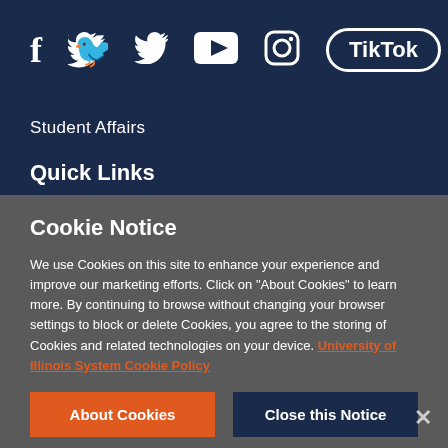[Figure (infographic): Social media icons: Facebook (f), Twitter (bird), YouTube (play button), Instagram (camera outline), TikTok (pill-shaped button) on dark navy background]
Student Affairs
Quick Links
Cookie Notice
We use Cookies on this site to enhance your experience and improve our marketing efforts. Click on "About Cookies" to learn more. By continuing to browse without changing your browser settings to block or delete Cookies, you agree to the storing of Cookies and related technologies on your device. University of Illinois System Cookie Policy
About Cookies
Close this Notice